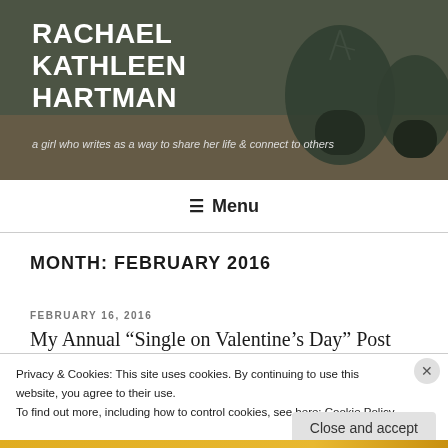RACHAEL KATHLEEN HARTMAN
a girl who writes as a way to share her life & connect to others
[Figure (screenshot): Blog website navigation menu bar with hamburger icon and Menu text]
MONTH: FEBRUARY 2016
FEBRUARY 16, 2016
My Annual “Single on Valentine’s Day” Post
Privacy & Cookies: This site uses cookies. By continuing to use this website, you agree to their use.
To find out more, including how to control cookies, see here: Cookie Policy
Close and accept
email with more privacy.